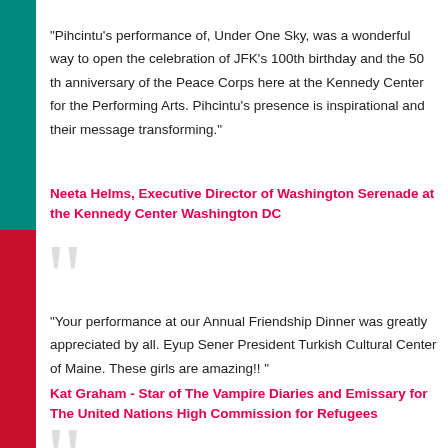"Pihcintu's performance of, Under One Sky, was a wonderful way to open the celebration of JFK's 100th birthday and the 50th anniversary of the Peace Corps here at the Kennedy Center for the Performing Arts. Pihcintu's presence is inspirational and their message transforming."
Neeta Helms, Executive Director of Washington Serenade at the Kennedy Center Washington DC
"Your performance at our Annual Friendship Dinner was greatly appreciated by all. Eyup Sener President Turkish Cultural Center of Maine. These girls are amazing!! "
Kat Graham - Star of The Vampire Diaries and Emissary for The United Nations High Commission for Refugees